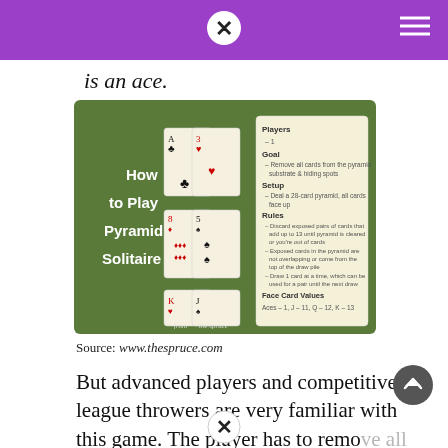is an ace.
[Figure (infographic): How to Play Pyramid Solitaire infographic on a green background showing playing cards, game rules, players, goal, setup, rules, and face card values. Source: www.thespruce.com]
Source: www.thespruce.com
But advanced players and competitive league throwers are very familiar with this game. The player has to remove all the cards with